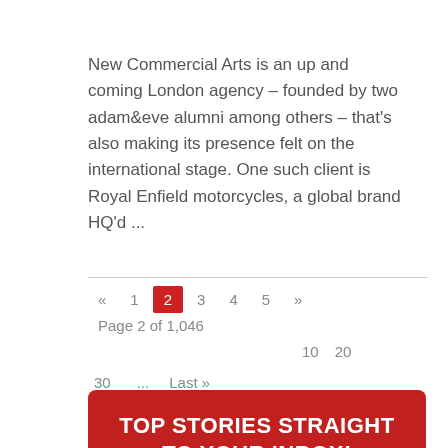New Commercial Arts is an up and coming London agency – founded by two adam&eve alumni among others – that's also making its presence felt on the international stage. One such client is Royal Enfield motorcycles, a global brand HQ'd ...
Read More »
« 1 2 3 4 5 » Page 2 of 1,046 10 20 30 … Last »
TOP STORIES STRAIGHT TO YOUR INBOX!